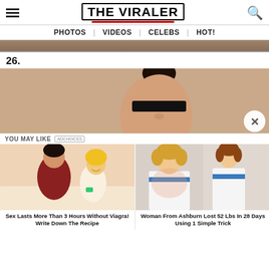THE VIRALER
PHOTOS | VIDEOS | CELEBS | HOT!
[Figure (photo): Top cropped image strip — brown/tan background, partial view of item above]
26.
[Figure (photo): Person peeking over sunglasses with dark hair in bun, warm beige/tan background, close button (X) at bottom right]
YOU MAY LIKE
[Figure (illustration): Left ad: illustrated couple, red-shirt man with blonde woman laughing. Caption: Sex Lasts More Than 3 Hours Without Viagra! Write Down The Recipe]
Sex Lasts More Than 3 Hours Without Viagra! Write Down The Recipe
[Figure (photo): Right ad: two women in white strapless dresses with blue decorations — before/after weight loss photo. Caption: Woman From Ashburn Lost 52 Lbs In 28 Days Using 1 Simple Trick]
Woman From Ashburn Lost 52 Lbs In 28 Days Using 1 Simple Trick